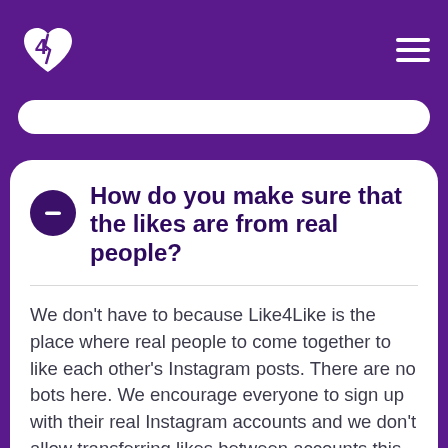[Figure (logo): Like4Like logo: white number 4 with a broken heart icon on purple background, top left header]
How do you make sure that the likes are from real people?
We don't have to because Like4Like is the place where real people to come together to like each other's Instagram posts. There are no bots here. We encourage everyone to sign up with their real Instagram accounts and we don't allow transferring likes between accounts this way ensuring that if